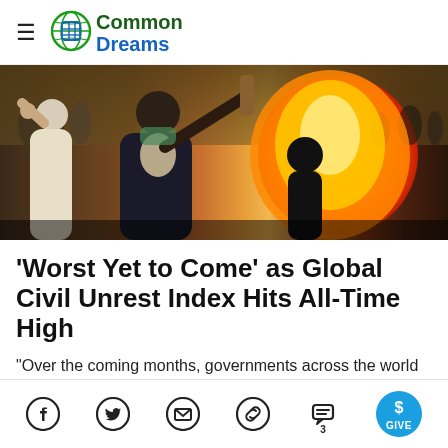Common Dreams
[Figure (photo): Protest scene with a man raising his arm toward camera while another person holds a stick, large fire burning in the background, crowd of people visible]
'Worst Yet to Come' as Global Civil Unrest Index Hits All-Time High
"Over the coming months, governments across the world are about to get an answer to a burning question: Will...
Social sharing icons: Facebook, Twitter, Email, Link, Comments (3), Give